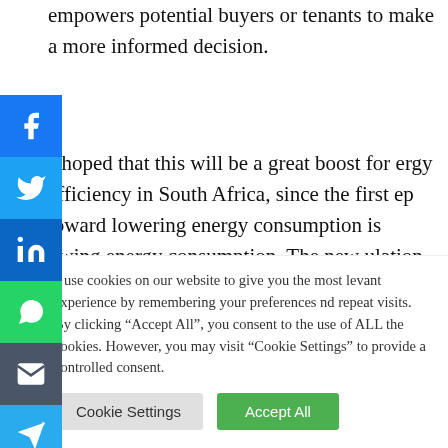empowers potential buyers or tenants to make a more informed decision.
It is hoped that this will be a great boost for energy efficiency in South Africa, since the first step toward lowering energy consumption is knowing energy consumption. The new regulation requires that energy data be collected
[Figure (infographic): Social media sharing bar on the left side with icons for Facebook, Twitter, LinkedIn, WhatsApp, Email, and Telegram]
We use cookies on our website to give you the most relevant experience by remembering your preferences and repeat visits. By clicking "Accept All", you consent to the use of ALL the cookies. However, you may visit "Cookie Settings" to provide a controlled consent.